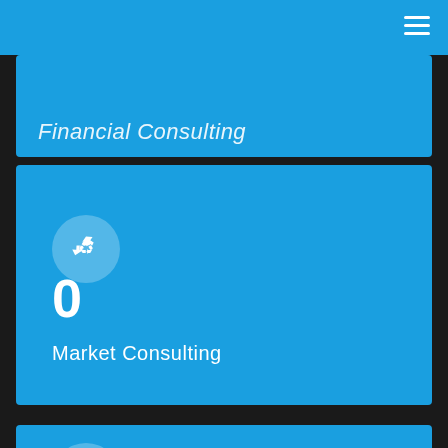Financial Consulting
0
Market Consulting
[Figure (illustration): Circular icon with recycling symbol (white arrows forming a triangle) on light blue circle background, inside a blue card]